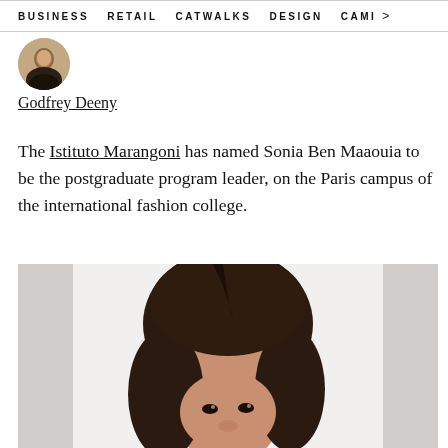BUSINESS   RETAIL   CATWALKS   DESIGN   CAMI >
[Figure (photo): Circular author portrait photo of Godfrey Deeny, showing face and shoulders]
Godfrey Deeny
The Istituto Marangoni has named Sonia Ben Maaouia to be the postgraduate program leader, on the Paris campus of the international fashion college.
[Figure (photo): Portrait photo of Sonia Ben Maaouia, a woman with long dark hair, cropped to show face and top of head against a white/grey background]